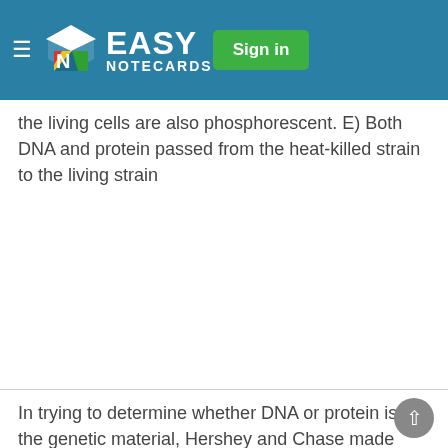Easy Notecards — Sign in
the living cells are also phosphorescent. E) Both DNA and protein passed from the heat-killed strain to the living strain
In trying to determine whether DNA or protein is the genetic material, Hershey and Chase made use of which of the following facts? A) DNA contains sulfur, whereas protein does not. B) DNA contains phosphorus, but protein does not. C) DNA contains nitrogen, whereas protein does not. D) DNA
b